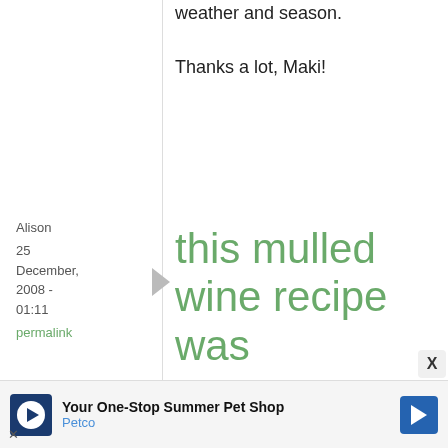weather and season.
Thanks a lot, Maki!
Alison
25 December, 2008 - 01:11
permalink
this mulled wine recipe was
this mulled wine recipe was delicious! i doubled the recipe and to serve some friends who were coming
[Figure (other): Petco advertisement banner: Your One-Stop Summer Pet Shop]